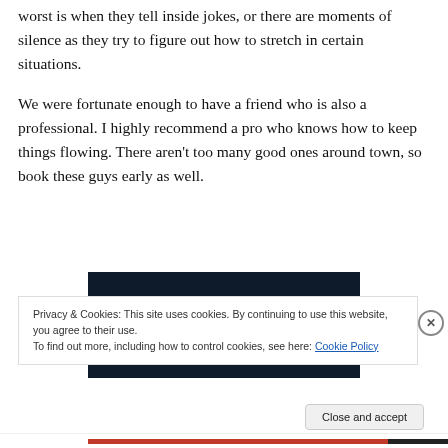worst is when they tell inside jokes, or there are moments of silence as they try to figure out how to stretch in certain situations.
We were fortunate enough to have a friend who is also a professional. I highly recommend a pro who knows how to keep things flowing. There aren't too many good ones around town, so book these guys early as well.
[Figure (photo): Dark navy background image partially visible with a pink/red bar element and a light circular element]
Privacy & Cookies: This site uses cookies. By continuing to use this website, you agree to their use.
To find out more, including how to control cookies, see here: Cookie Policy
Close and accept